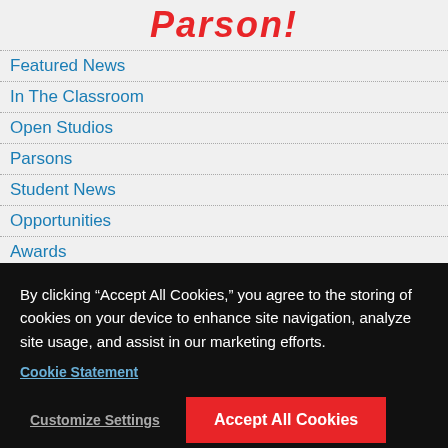PARSON!
Featured News
In The Classroom
Open Studios
Parsons
Student News
Opportunities
Awards
Call for Entries
Careers
competitions
Fellowships
Internships
By clicking “Accept All Cookies,” you agree to the storing of cookies on your device to enhance site navigation, analyze site usage, and assist in our marketing efforts.
Cookie Statement
Customize Settings
Accept All Cookies